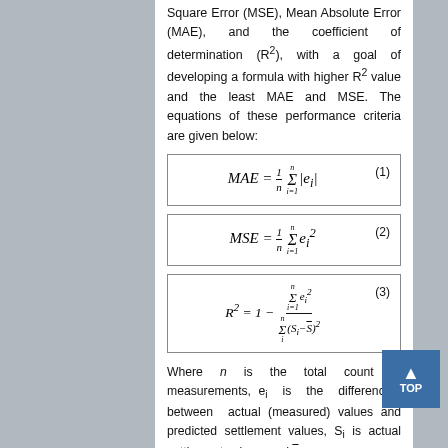measurements were utilized, the Mean Square Error (MSE), Mean Absolute Error (MAE), and the coefficient of determination (R²), with a goal of developing a formula with higher R² value and the least MAE and MSE. The equations of these performance criteria are given below:
Where n is the total count of measurements, eᵢ is the differences between actual (measured) values and predicted settlement values, Sᵢ is actual settlement values, and S̄ is the average of the measured settlement